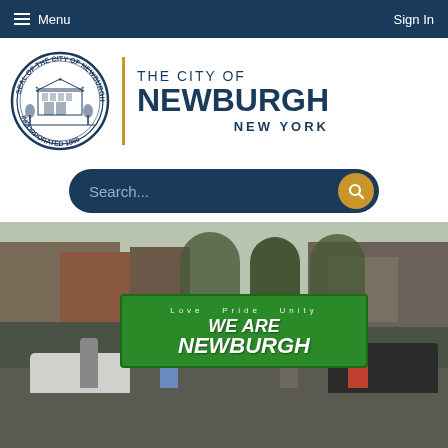Menu  Sign In
[Figure (logo): Seal of the City of Newburgh N.Y. Incorporated 1865 circular seal with building illustration]
THE CITY OF NEWBURGH NEW YORK
Search...
[Figure (photo): Community parade with people holding a large green banner reading 'WE ARE NEWBURGH' with text 'Love Pride Unity' along a city street]